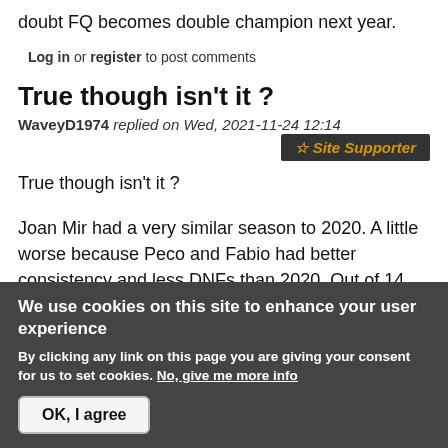doubt FQ becomes double champion next year.
Log in or register to post comments
True though isn't it ?
WaveyD1974 replied on Wed, 2021-11-24 12:14
☆ Site Supporter
True though isn't it ?
Joan Mir had a very similar season to 2020. A little worse because Peco and Fabio had better consistency and less DNFs than 2020. Out of 14 races in 2020 Peco missed 3 and finished 5, the other
We use cookies on this site to enhance your user experience
By clicking any link on this page you are giving your consent for us to set cookies. No, give me more info
OK, I agree